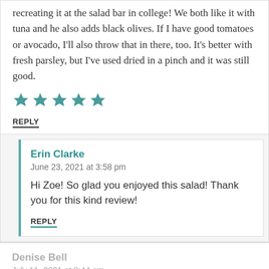recreating it at the salad bar in college! We both like it with tuna and he also adds black olives. If I have good tomatoes or avocado, I'll also throw that in there, too. It's better with fresh parsley, but I've used dried in a pinch and it was still good.
[Figure (other): 5 teal/blue star rating icons]
REPLY
Erin Clarke
June 23, 2021 at 3:58 pm
Hi Zoe! So glad you enjoyed this salad! Thank you for this kind review!
REPLY
Denise Bell
July 11, 2021 at 8:44 am